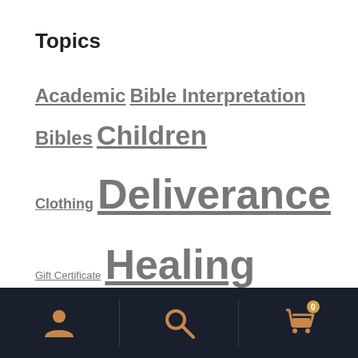Topics
Academic Bible Interpretation Bibles Children Clothing Deliverance Gift Certificate Healing History Inner Healing Prayer Prophetic Randy Clark Revival Culture Spiritual Growth Spiritual Warfare Supernatural Living Women In Leadership
[Figure (other): Mobile bottom navigation bar with user/account icon, search icon, and shopping cart icon with badge showing 0]